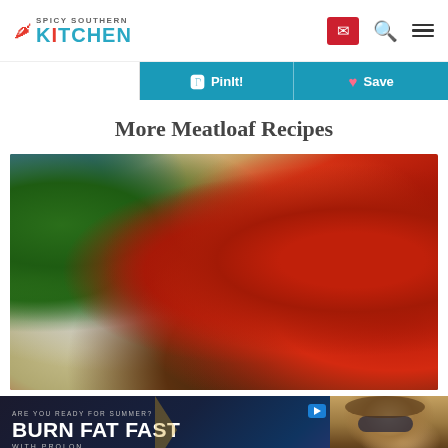Spicy Southern Kitchen — header with logo, email icon, search icon, menu icon
PinIt! Save
More Meatloaf Recipes
[Figure (photo): Close-up photo of meatloaf slices covered in red tomato-based glaze sauce, served on a white plate with green herbs and celery in the background]
[Figure (photo): Advertisement banner: ARE YOU READY FOR SUMMER? BURN FAT FAST WITH PROLON — dark background with woman in sunglasses on right side, ProLon branding]